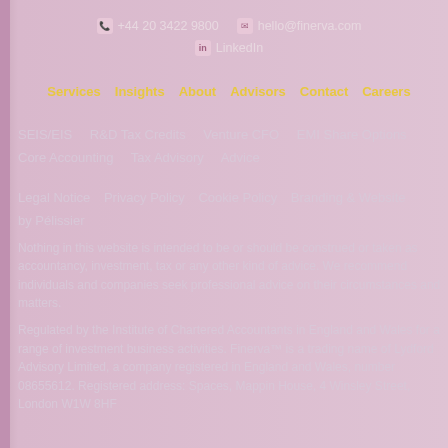+44 20 3422 9800   hello@finerva.com   LinkedIn
Services   Insights   About   Advisors   Contact   Careers
SEIS/EIS   R&D Tax Credits   Venture CFO   EMI Share Options   Core Accounting   Tax Advisory   Advice
Legal Notice   Privacy Policy   Cookie Policy   Branding & Website by Pélissier
Nothing in this website is intended to be or should be construed or taken as accountancy, investment, tax or any other kind of advice. We recommend individuals and companies seek professional advice on their circumstances and matters.
Regulated by the Institute of Chartered Accountants in England and Wales for a range of investment business activities. Finerva™ is a trading name of Lydford Advisory Limited, a company registered in England and Wales, number 08655612. Registered address: Spaces, Mappin House, 4 Winsley Street, London W1W 8HF